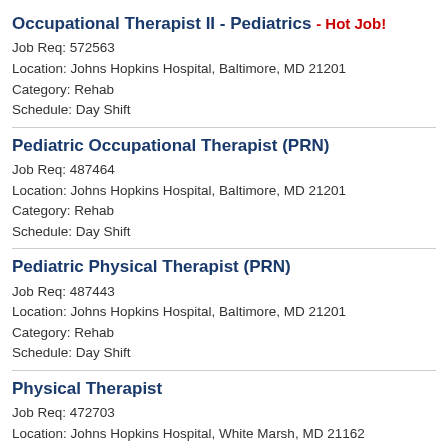Occupational Therapist II - Pediatrics - Hot Job!
Job Req: 572563
Location: Johns Hopkins Hospital, Baltimore, MD 21201
Category: Rehab
Schedule: Day Shift
Pediatric Occupational Therapist (PRN)
Job Req: 487464
Location: Johns Hopkins Hospital, Baltimore, MD 21201
Category: Rehab
Schedule: Day Shift
Pediatric Physical Therapist (PRN)
Job Req: 487443
Location: Johns Hopkins Hospital, Baltimore, MD 21201
Category: Rehab
Schedule: Day Shift
Physical Therapist
Job Req: 472703
Location: Johns Hopkins Hospital, White Marsh, MD 21162
Category: Rehab
Schedule: Day Shift